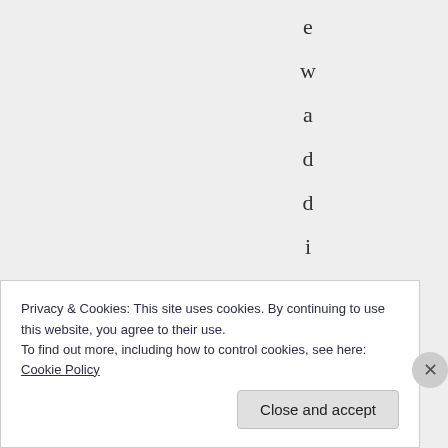e w a d d i t i o n s
Privacy & Cookies: This site uses cookies. By continuing to use this website, you agree to their use.
To find out more, including how to control cookies, see here: Cookie Policy
Close and accept